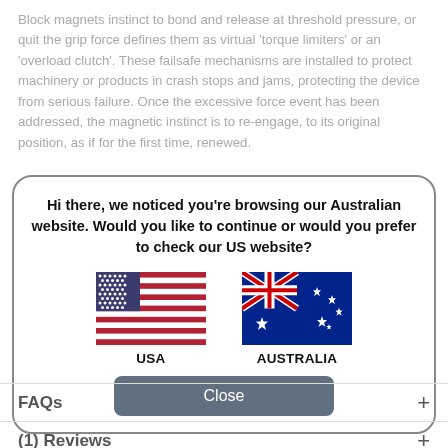Block magnets instinct to bond and release at threshold pressure, or quit the grip force defines them as virtual 'torque limiters' or an 'overload clutch'. These failsafe mechanisms are installed to protect machinery or products in crash stops and jams, protecting the device from serious failure. Once the excessive force event has been addressed, the magnetic instinct is to re-engage, to its original position, as if for the first time, renewed.
[Figure (screenshot): A modal dialog box with rounded border containing a message: 'Hi there, we noticed you’re browsing our Australian website. Would you like to continue or would you prefer to check our US website?' with USA and Australian flag images labeled USA and AUSTRALIA, and a Close button.]
FAQs
(1)  Reviews